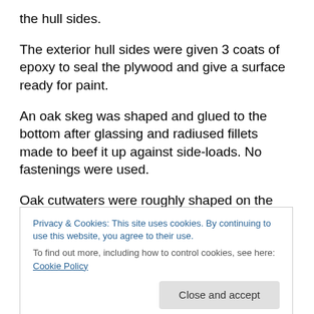the hull sides.
The exterior hull sides were given 3 coats of epoxy to seal the plywood and give a surface ready for paint.
An oak skeg was shaped and glued to the bottom after glassing and radiused fillets made to beef it up against side-loads. No fastenings were used.
Oak cutwaters were roughly shaped on the table saw. These were somewhat oversized and were held in place with copper boat nails and pieces of rope until the epoxy
Privacy & Cookies: This site uses cookies. By continuing to use this website, you agree to their use.
To find out more, including how to control cookies, see here: Cookie Policy
plans don't call for these cutwaters but it seemed a good